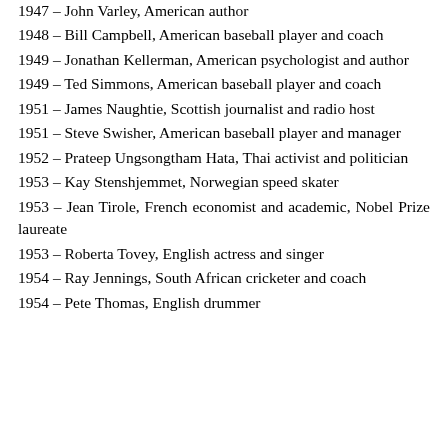1947 – John Varley, American author
1948 – Bill Campbell, American baseball player and coach
1949 – Jonathan Kellerman, American psychologist and author
1949 – Ted Simmons, American baseball player and coach
1951 – James Naughtie, Scottish journalist and radio host
1951 – Steve Swisher, American baseball player and manager
1952 – Prateep Ungsongtham Hata, Thai activist and politician
1953 – Kay Stenshjemmet, Norwegian speed skater
1953 – Jean Tirole, French economist and academic, Nobel Prize laureate
1953 – Roberta Tovey, English actress and singer
1954 – Ray Jennings, South African cricketer and coach
1954 – Pete Thomas, English drummer